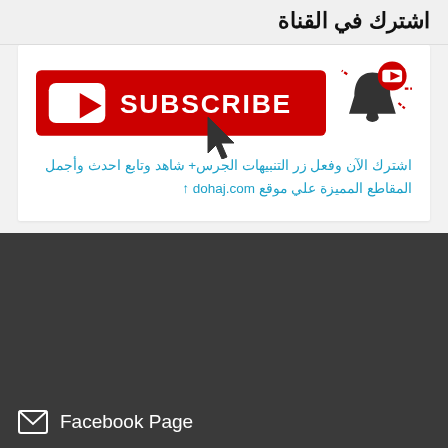اشترك في القناة
[Figure (illustration): YouTube Subscribe button in red with white YouTube play icon and SUBSCRIBE text in white, with a notification bell icon to the right and a cursor arrow below]
اشترك الآن وفعل زر التنبيهات الجرس+ شاهد وتابع احدث وأجمل المقاطع المميزة علي موقع dohaj.com ↑
Facebook Page